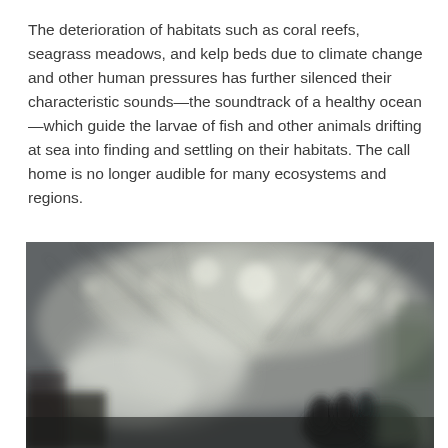The deterioration of habitats such as coral reefs, seagrass meadows, and kelp beds due to climate change and other human pressures has further silenced their characteristic sounds—the soundtrack of a healthy ocean—which guide the larvae of fish and other animals drifting at sea into finding and settling on their habitats. The call home is no longer audible for many ecosystems and regions.
[Figure (photo): A blurry, bokeh-heavy outdoor photograph showing bare tree branches with bright light bokeh circles in the background and what appears to be a dark silhouette of a hand or animal form in the lower right foreground. The image is desaturated with cool, grayish tones.]